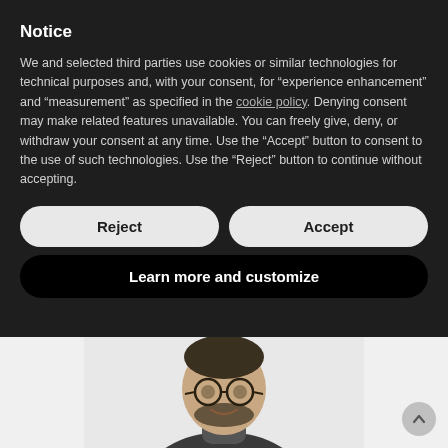Notice
We and selected third parties use cookies or similar technologies for technical purposes and, with your consent, for “experience enhancement” and “measurement” as specified in the cookie policy. Denying consent may make related features unavailable. You can freely give, deny, or withdraw your consent at any time. Use the “Accept” button to consent to the use of such technologies. Use the “Reject” button to continue without accepting.
Reject
Accept
Learn more and customize
[Figure (photo): Photo of a man with glasses and a beard, smiling, wearing a dark turtleneck and jacket, visible from the shoulders up against a white background.]